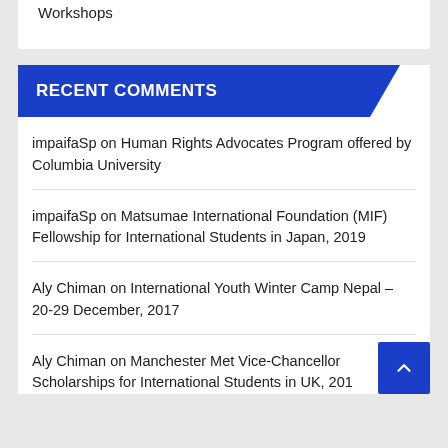Workshops
RECENT COMMENTS
impaifaSp on Human Rights Advocates Program offered by Columbia University
impaifaSp on Matsumae International Foundation (MIF) Fellowship for International Students in Japan, 2019
Aly Chiman on International Youth Winter Camp Nepal – 20-29 December, 2017
Aly Chiman on Manchester Met Vice-Chancellor Scholarships for International Students in UK, 201…